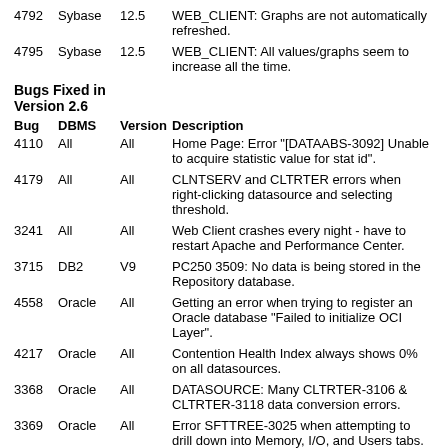4792  Sybase  12.5  WEB_CLIENT: Graphs are not automatically refreshed.
4795  Sybase  12.5  WEB_CLIENT: All values/graphs seem to increase all the time.
Bugs Fixed in Version 2.6
| Bug | DBMS | Version | Description |
| --- | --- | --- | --- |
| 4110 | All | All | Home Page: Error "[DATAABS-3092] Unable to acquire statistic value for stat id". |
| 4179 | All | All | CLNTSERV and CLTRTER errors when right-clicking datasource and selecting threshold. |
| 3241 | All | All | Web Client crashes every night - have to restart Apache and Performance Center. |
| 3715 | DB2 | V9 | PC250 3509: No data is being stored in the Repository database. |
| 4558 | Oracle | All | Getting an error when trying to register an Oracle database "Failed to initialize OCI Layer". |
| 4217 | Oracle | All | Contention Health Index always shows 0% on all datasources. |
| 3368 | Oracle | All | DATASOURCE: Many CLTRTER-3106 & CLTRTER-3118 data conversion errors. |
| 3369 | Oracle | All | Error SFTTREE-3025 when attempting to drill down into Memory, I/O, and Users tabs. |
| 2178 | SQL Server | All | Stored Procedures getting overwritten constantly. |